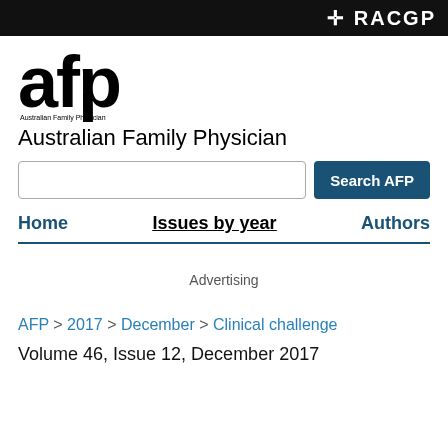RACGP
[Figure (logo): AFP - Australian Family Physician logo with large lowercase 'afp' lettering]
Australian Family Physician
Search AFP
Home | Issues by year | Authors
Advertising
AFP > 2017 > December > Clinical challenge
Volume 46, Issue 12, December 2017